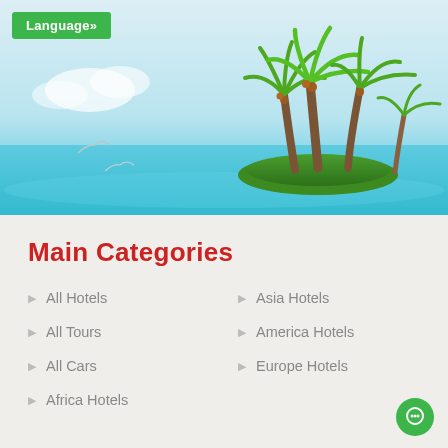[Figure (illustration): Travel hero image with tropical island scene: palm trees on a small island in turquoise water, two white birds/seagulls flying on the left, light blue sky with clouds in background. Green 'Language»' button in top-left corner.]
Main Categories
All Hotels
All Tours
All Cars
Africa Hotels
Asia Hotels
America Hotels
Europe Hotels